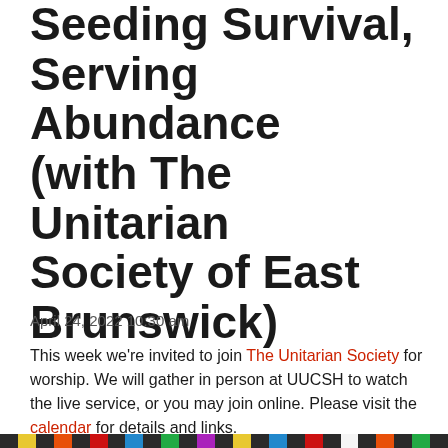Seeding Survival, Serving Abundance (with The Unitarian Society of East Brunswick)
April 24, 2022 10:30 am
This week we're invited to join The Unitarian Society for worship. We will gather in person at UUCSH to watch the live service, or you may join online. Please visit the calendar for details and links.